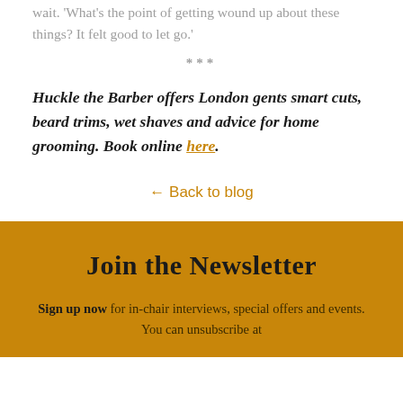wait. 'What's the point of getting wound up about these things? It felt good to let go.'
***
Huckle the Barber offers London gents smart cuts, beard trims, wet shaves and advice for home grooming. Book online here.
← Back to blog
Join the Newsletter
Sign up now for in-chair interviews, special offers and events. You can unsubscribe at